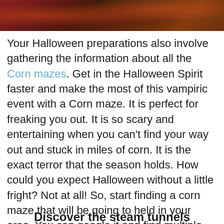[Figure (photo): Top strip of a Halloween-themed photo showing dark red and brown autumn/Halloween scene with corn and pumpkins]
Your Halloween preparations also involve gathering the information about all the Corn mazes. Get in the Halloween Spirit faster and make the most of this vampiric event with a Corn maze. It is perfect for freaking you out. It is so scary and entertaining when you can't find your way out and stuck in miles of corn. It is the exact terror that the season holds. How could you expect Halloween without a little fright? Not at all! So, start finding a corn maze that will be going to held in your area. You can google it and find multiple locations in no time.
Discover the steam tunnels